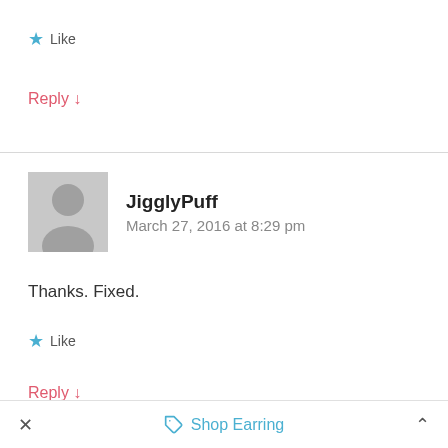★ Like
Reply ↓
JigglyPuff
March 27, 2016 at 8:29 pm
Thanks. Fixed.
★ Like
Reply ↓
✕   🏷 Shop Earring   ∧